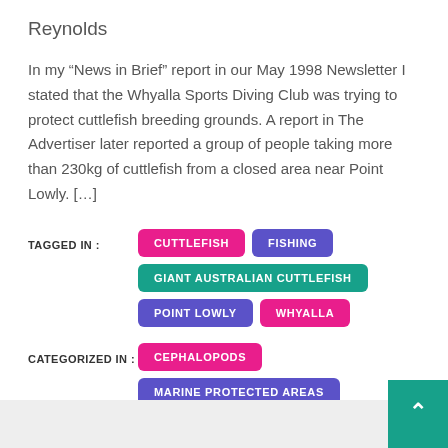Reynolds
In my “News in Brief” report in our May 1998 Newsletter I stated that the Whyalla Sports Diving Club was trying to protect cuttlefish breeding grounds. A report in The Advertiser later reported a group of people taking more than 230kg of cuttlefish from a closed area near Point Lowly. […]
TAGGED IN : CUTTLEFISH | FISHING | GIANT AUSTRALIAN CUTTLEFISH | POINT LOWLY | WHYALLA
CATEGORIZED IN : CEPHALOPODS | MARINE PROTECTED AREAS